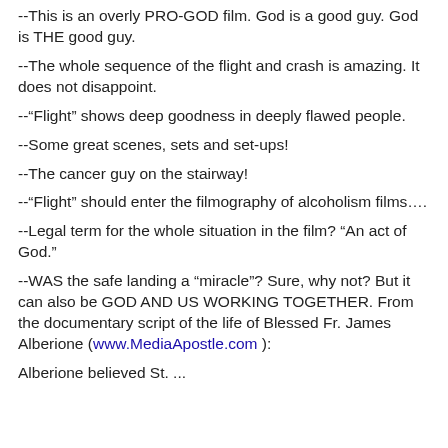--This is an overly PRO-GOD film. God is a good guy. God is THE good guy.
--The whole sequence of the flight and crash is amazing. It does not disappoint.
--"Flight" shows deep goodness in deeply flawed people.
--Some great scenes, sets and set-ups!
--The cancer guy on the stairway!
--"Flight" should enter the filmography of alcoholism films....
--Legal term for the whole situation in the film? “An act of God.”
--WAS the safe landing a “miracle”? Sure, why not? But it can also be GOD AND US WORKING TOGETHER. From the documentary script of the life of Blessed Fr. James Alberione (www.MediaApostle.com ):
Alberione believed St. ...